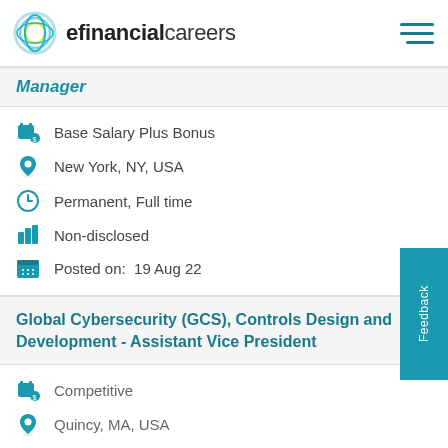efinancialcareers
Manager
Base Salary Plus Bonus
New York, NY, USA
Permanent, Full time
Non-disclosed
Posted on:  19 Aug 22
Global Cybersecurity (GCS), Controls Design and Development - Assistant Vice President
Competitive
Quincy, MA, USA
Permanent, Full time
Non-disclosed